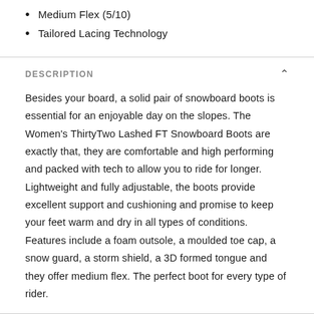Medium Flex (5/10)
Tailored Lacing Technology
DESCRIPTION
Besides your board, a solid pair of snowboard boots is essential for an enjoyable day on the slopes. The Women's ThirtyTwo Lashed FT Snowboard Boots are exactly that, they are comfortable and high performing and packed with tech to allow you to ride for longer. Lightweight and fully adjustable, the boots provide excellent support and cushioning and promise to keep your feet warm and dry in all types of conditions. Features include a foam outsole, a moulded toe cap, a snow guard, a storm shield, a 3D formed tongue and they offer medium flex. The perfect boot for every type of rider.